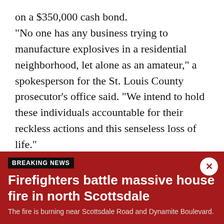on a $350,000 cash bond. "No one has any business trying to manufacture explosives in a residential neighborhood, let alone as an amateur," a spokesperson for the St. Louis County prosecutor's office said. "We intend to hold these individuals accountable for their reckless actions and this senseless loss of life." Investigators observed Cooks moving boxes of chemicals used to make explosives to his vehicle following Friday's explosion. They also found large quantities of "completed explosive weapons and
[Figure (screenshot): Breaking news banner with dark red background. Label: BREAKING NEWS. Headline: Firefighters battle massive house fire in north Scottsdale. Subtext: The fire is burning near Scottsdale Road and Dynamite Boulevard. Close button (X) in top right.]